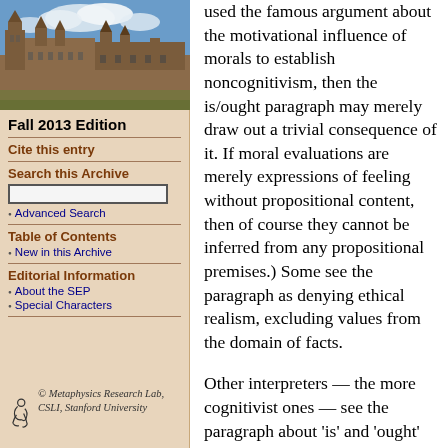[Figure (photo): Photograph of a historic university building with gothic architecture and blue sky with clouds]
Fall 2013 Edition
Cite this entry
Search this Archive
Advanced Search
Table of Contents
New in this Archive
Editorial Information
About the SEP
Special Characters
© Metaphysics Research Lab, CSLI, Stanford University
used the famous argument about the motivational influence of morals to establish noncognitivism, then the is/ought paragraph may merely draw out a trivial consequence of it. If moral evaluations are merely expressions of feeling without propositional content, then of course they cannot be inferred from any propositional premises.) Some see the paragraph as denying ethical realism, excluding values from the domain of facts.
Other interpreters — the more cognitivist ones — see the paragraph about 'is' and 'ought' as doing none of the above. Some read it as simply